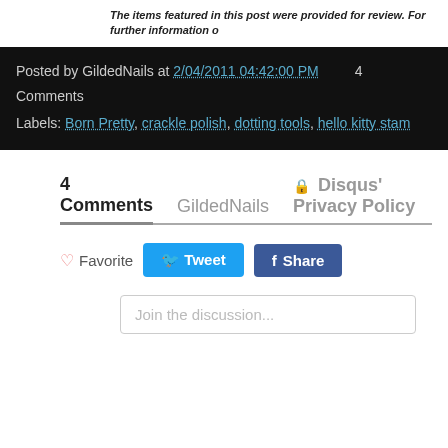The items featured in this post were provided for review. For further information o
Posted by GildedNails at 2/04/2011 04:42:00 PM   4 Comments
Labels: Born Pretty, crackle polish, dotting tools, hello kitty stam
4 Comments   GildedNails   Disqus' Privacy Policy
Favorite   Tweet   Share
Join the discussion...